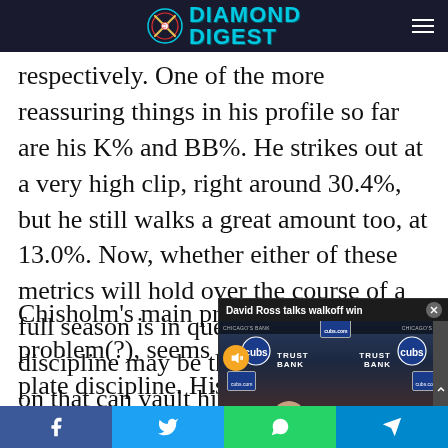Diamond Digest
respectively. One of the more reassuring things in his profile so far are his K% and BB%. He strikes out at a very high clip, right around 30.4%, but he still walks a great amount too, at 13.0%. Now, whether either of these metrics will hold over the course of a full season is in question, but his plate discipline may be the last thing to work on that can vault him into a top 5 player at his position.
[Figure (screenshot): Video overlay showing David Ross talks walkoff win with Chicago Cubs branding. Cubs logos, TRUST BANK sponsor text, WIN text visible. Mute button icon shown. Close button in top right.]
Chisholm's main problem(?), seems to be plate discipline. His with a few question
Social share bar: Facebook, Twitter, WhatsApp, Telegram